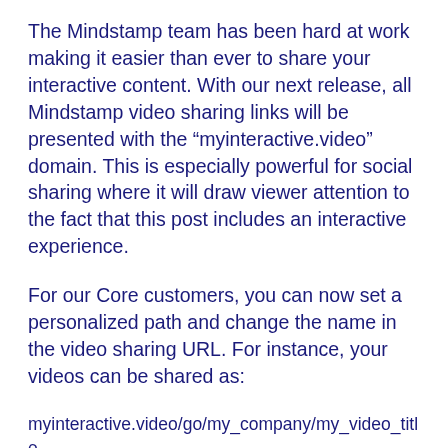The Mindstamp team has been hard at work making it easier than ever to share your interactive content. With our next release, all Mindstamp video sharing links will be presented with the “myinteractive.video” domain. This is especially powerful for social sharing where it will draw viewer attention to the fact that this post includes an interactive experience.
For our Core customers, you can now set a personalized path and change the name in the video sharing URL. For instance, your videos can be shared as:
myinteractive.video/go/my_company/my_video_title
Finally, our Enterprise customers can choose an entirely custom domain. Simply register your desired